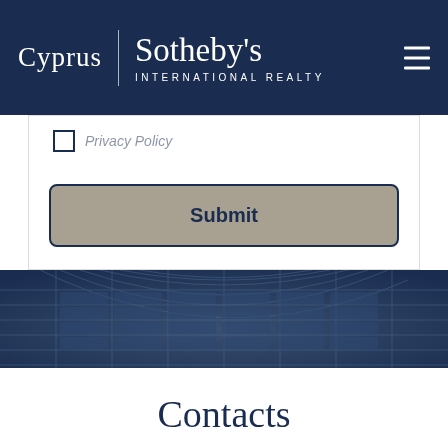Cyprus | Sotheby's INTERNATIONAL REALTY
Privacy Policy
Submit
[Figure (photo): Architectural photo of a curved glass and steel skyscraper facade, shown in blue-tinted tones with a grid-like pattern of windows.]
Contacts
Address
46 Ioanni Agroti